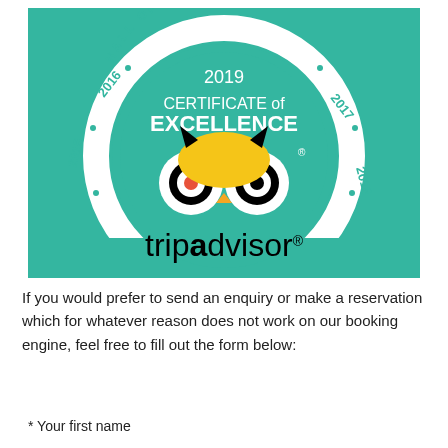[Figure (logo): TripAdvisor 2019 Certificate of Excellence badge with Hall of Fame years 2015, 2016, 2017, 2018 on a teal/green background. Features the TripAdvisor owl logo and 'tripadvisor' wordmark in black.]
If you would prefer to send an enquiry or make a reservation which for whatever reason does not work on our booking engine, feel free to fill out the form below:
* Your first name